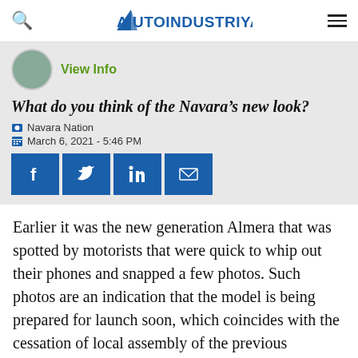AUTOINDUSTRIYA.COM
View Info
What do you think of the Navara’s new look?
Navara Nation
March 6, 2021 - 5:46 PM
[Figure (other): Social share buttons: Facebook, Twitter, LinkedIn, Email]
Earlier it was the new generation Almera that was spotted by motorists that were quick to whip out their phones and snapped a few photos. Such photos are an indication that the model is being prepared for launch soon, which coincides with the cessation of local assembly of the previous generation model at the Univation Motors plant.